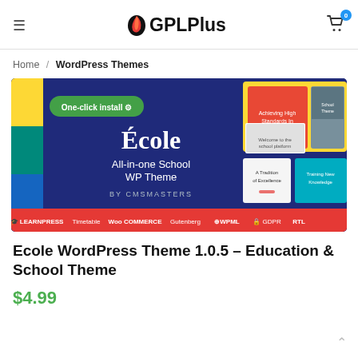≡  GPLPlus  🛒 0
Home / WordPress Themes
[Figure (screenshot): Ecole All-in-one School WP Theme by CMSMasters — promotional banner showing multiple school website layouts with features: LearnPress, Timetable, WooCommerce, Gutenberg, WPML, GDPR, RTL]
Ecole WordPress Theme 1.0.5 – Education & School Theme
$4.99